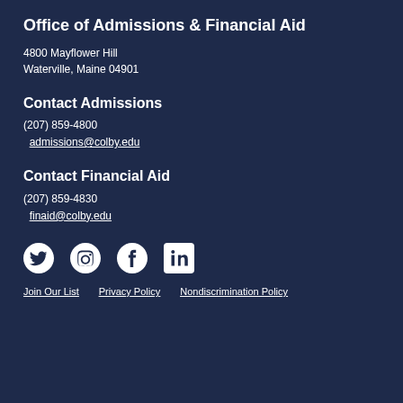Office of Admissions & Financial Aid
4800 Mayflower Hill
Waterville, Maine 04901
Contact Admissions
(207) 859-4800
admissions@colby.edu
Contact Financial Aid
(207) 859-4830
finaid@colby.edu
[Figure (infographic): Social media icons: Twitter, Instagram, Facebook, LinkedIn]
Join Our List   Privacy Policy   Nondiscrimination Policy